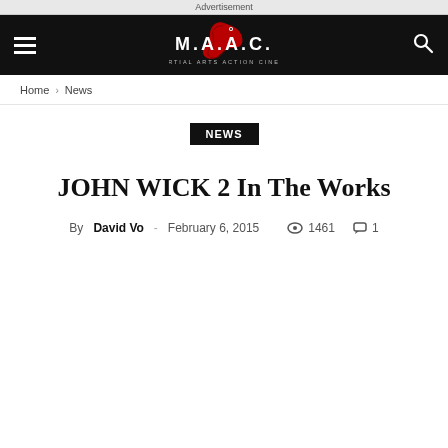Advertisement
[Figure (logo): M.A.A.C. Martial Arts Action Cinema logo with stylized dragon/snake graphic, white text on dark navbar]
Home › News
NEWS
JOHN WICK 2 In The Works
By David Vo - February 6, 2015   1461   1